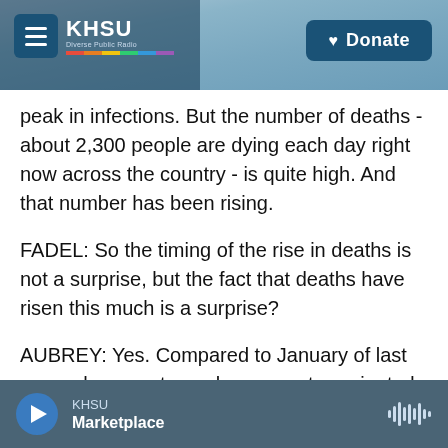KHSU — Diverse Public Radio | Donate
peak in infections. But the number of deaths - about 2,300 people are dying each day right now across the country - is quite high. And that number has been rising.
FADEL: So the timing of the rise in deaths is not a surprise, but the fact that deaths have risen this much is a surprise?
AUBREY: Yes. Compared to January of last year, when most people were not vaccinated, the death toll now is lower. Last January, deaths peaked at 3,400 a day or so. But the fact deaths have risen
KHSU Marketplace